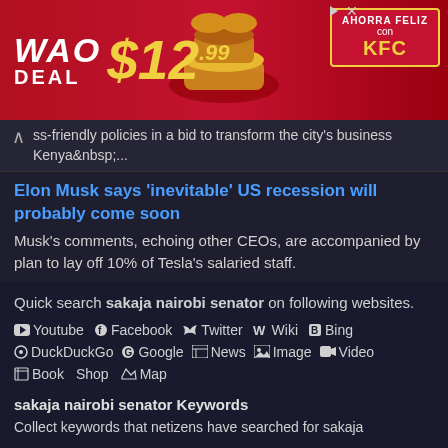[Figure (photo): KFC advertisement banner with 'WAO DEAL $12.99' text and 'AHORRA FELIZ con KFC' box on red background with food imagery]
ss-friendly policies in a bid to transform the city's business Kenya ...
Elon Musk says 'inevitable' US recession will probably come soon
Musk's comments, echoing other CEOs, are accompanied by plan to lay off 10% of Tesla's salaried staff.
Quick search sakaja nairobi senator on following websites.
Youtube  Facebook  Twitter  Wiki  Bing
DuckDuckGo  Google  News  Image  Video
Book  Shop  Map
sakaja nairobi senator Keywords
Collect keywords that netizens have searched for sakaja